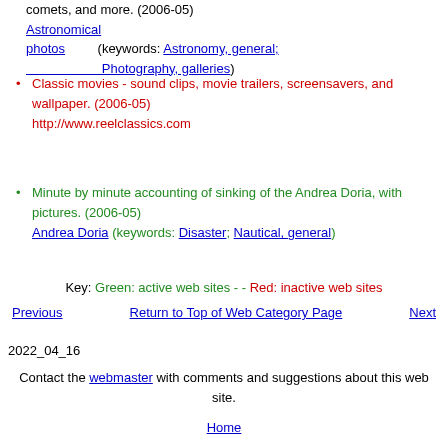comets, and more. (2006-05) Astronomical photos (keywords: Astronomy, general; Photography, galleries)
Classic movies - sound clips, movie trailers, screensavers, and wallpaper. (2006-05) http://www.reelclassics.com
Minute by minute accounting of sinking of the Andrea Doria, with pictures. (2006-05) Andrea Doria (keywords: Disaster; Nautical, general)
Key: Green: active web sites - - Red: inactive web sites
Previous    Return to Top of Web Category Page    Next
2022_04_16
Contact the webmaster with comments and suggestions about this web site.
Home